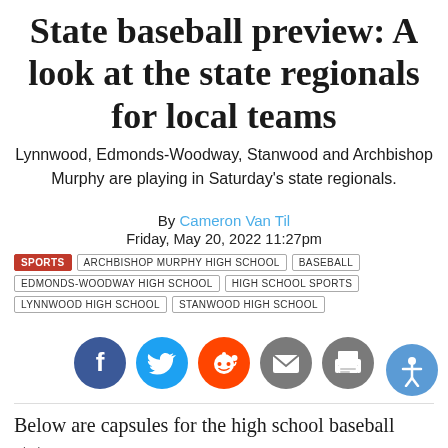State baseball preview: A look at the state regionals for local teams
Lynnwood, Edmonds-Woodway, Stanwood and Archbishop Murphy are playing in Saturday's state regionals.
By Cameron Van Til
Friday, May 20, 2022 11:27pm
SPORTS | ARCHBISHOP MURPHY HIGH SCHOOL | BASEBALL | EDMONDS-WOODWAY HIGH SCHOOL | HIGH SCHOOL SPORTS | LYNNWOOD HIGH SCHOOL | STANWOOD HIGH SCHOOL
[Figure (infographic): Social sharing icons: Facebook (blue), Twitter (blue), Reddit (orange), Email (gray), Print (gray)]
Below are capsules for the high school baseball state